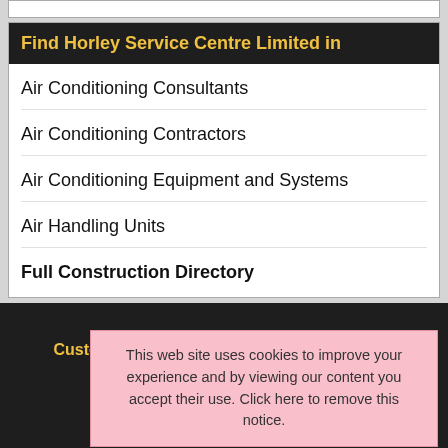Find Horley Service Centre Limited in
Air Conditioning Consultants
Air Conditioning Contractors
Air Conditioning Equipment and Systems
Air Handling Units
Full Construction Directory
This web site uses cookies to improve your experience and by viewing our content you accept their use. Click here to remove this notice.
Customer Login | Webmaster Tools Artwork | Webmaster Tools News